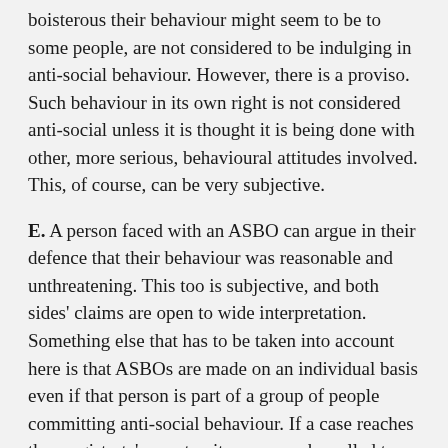boisterous their behaviour might seem to be to some people, are not considered to be indulging in anti-social behaviour. However, there is a proviso. Such behaviour in its own right is not considered anti-social unless it is thought it is being done with other, more serious, behavioural attitudes involved. This, of course, can be very subjective.
E. A person faced with an ASBO can argue in their defence that their behaviour was reasonable and unthreatening. This too is subjective, and both sides' claims are open to wide interpretation. Something else that has to be taken into account here is that ASBOs are made on an individual basis even if that person is part of a group of people committing anti-social behaviour. If a case reaches the magistrate's court, witnesses can be called to provide further evidence for or against the defendant. However, the magistrate, as well as considering the complaints made against the defendant, will take into account his or her family situation, welfare issues, and whether or not he or she has been victimised or